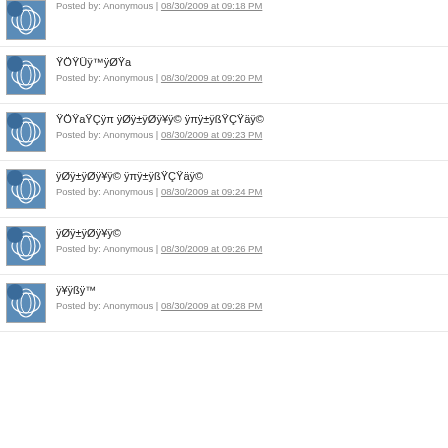Posted by: Anonymous | 08/30/2009 at 09:18 PM
ŸÖŸÜÿ™ÿØŸa
Posted by: Anonymous | 08/30/2009 at 09:20 PM
ŸÖŸaŸÇÿπ ÿØÿ±ÿØÿ¥ÿ© ÿπÿ±ÿßŸÇŸäÿ©
Posted by: Anonymous | 08/30/2009 at 09:23 PM
ÿØÿ±ÿØÿ¥ÿ© ÿπÿ±ÿßŸÇŸäÿ©
Posted by: Anonymous | 08/30/2009 at 09:24 PM
ÿØÿ±ÿØÿ¥ÿ©
Posted by: Anonymous | 08/30/2009 at 09:26 PM
ÿ¥ÿßÿ™
Posted by: Anonymous | 08/30/2009 at 09:28 PM